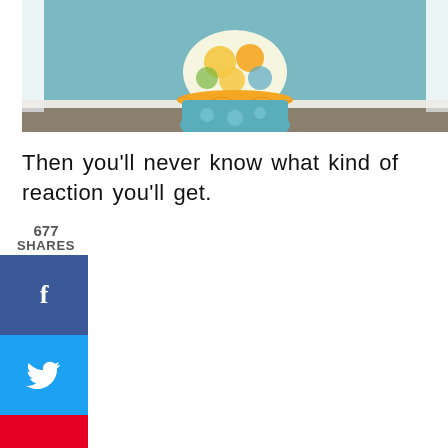[Figure (photo): Partial view of a child wearing a colorful dress with orange ruffles and teal/floral patterns, standing in front of a white door frame and light blue wall.]
Then you'll never know what kind of reaction you'll get.
677
SHARES
[Figure (infographic): Social share buttons: Facebook (blue, f icon), Twitter (light blue, bird icon), Pinterest (red, p icon)]